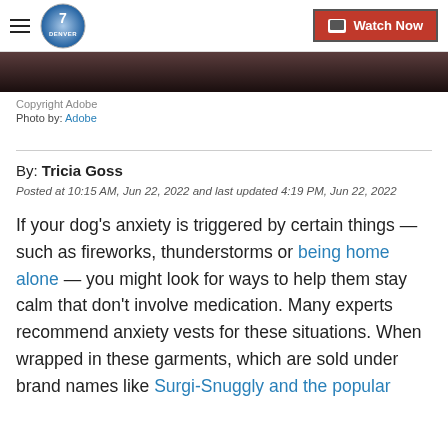Denver7 — Watch Now navigation bar
[Figure (photo): Dark partial image strip at top of article, showing a dark blurred background]
Copyright Adobe
Photo by: Adobe
By: Tricia Goss
Posted at 10:15 AM, Jun 22, 2022 and last updated 4:19 PM, Jun 22, 2022
If your dog's anxiety is triggered by certain things — such as fireworks, thunderstorms or being home alone — you might look for ways to help them stay calm that don't involve medication. Many experts recommend anxiety vests for these situations. When wrapped in these garments, which are sold under brand names like Surgi-Snuggly and the popular Thundershirt, dogs feel...